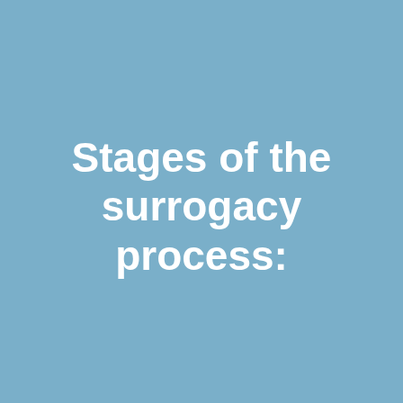Stages of the surrogacy process: